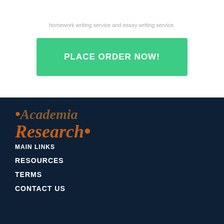homework writing service and essay writing service.
PLACE ORDER NOW!
[Figure (logo): Academia Research logo with dot decorations, displayed in dark navy and brown/orange italic serif text]
MAIN LINKS
RESOURCES
TERMS
CONTACT US